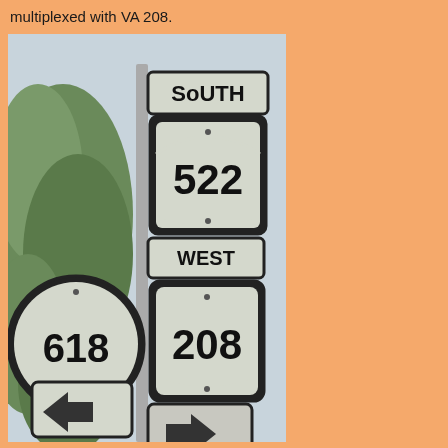multiplexed with VA 208.
[Figure (photo): Road sign post showing US Route 522 South, VA Route 208 West, VA Route 618, with directional arrow signs pointing left and right at the bottom.]